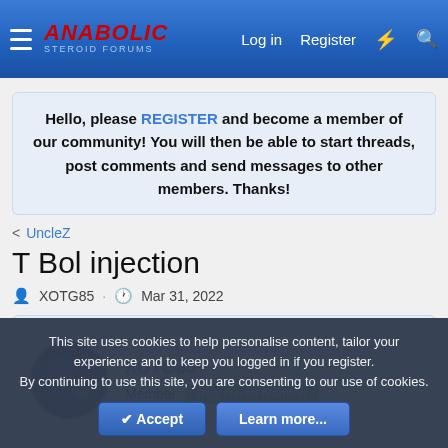Anabolic Steroid Forums — Log in | Register
Hello, please REGISTER and become a member of our community! You will then be able to start threads, post comments and send messages to other members. Thanks!
< UncleZ
T Bol injection
XOTG85 · Mar 31, 2022
XOTG85
Member  Registered Member
Mar 31, 2022
This site uses cookies to help personalise content, tailor your experience and to keep you logged in if you register.
By continuing to use this site, you are consenting to our use of cookies.